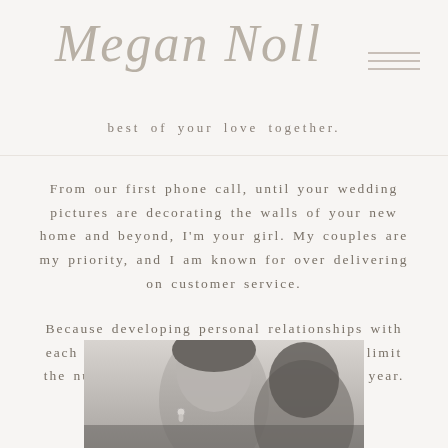Megan Noll
best of your love together.
From our first phone call, until your wedding pictures are decorating the walls of your new home and beyond, I'm your girl. My couples are my priority, and I am known for over delivering on customer service.
Because developing personal relationships with each of my couples is important to me, I limit the number of weddings I commit to each year.
[Figure (photo): Black and white close-up photo of a couple, woman visible from chin to forehead with an earring, man partially visible]